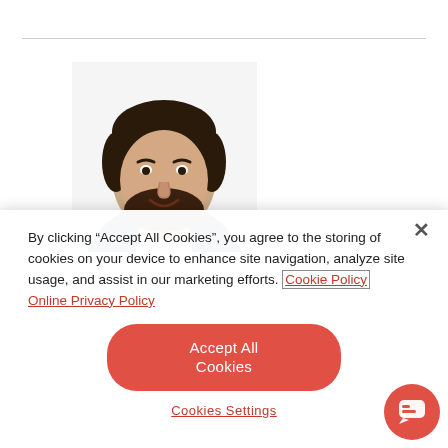[Figure (photo): Headshot photo of a man with dark hair and beard, wearing a dark blazer over a light shirt, smiling, on a white background]
By clicking “Accept All Cookies”, you agree to the storing of cookies on your device to enhance site navigation, analyze site usage, and assist in our marketing efforts. Cookie Policy Online Privacy Policy
[Figure (other): Red rounded rectangle button labeled 'Accept All Cookies']
Cookies Settings